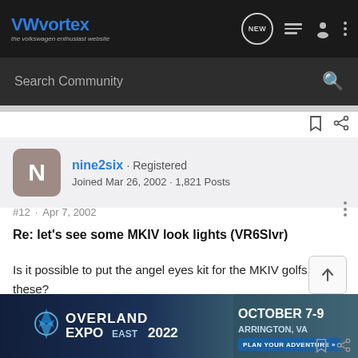VWvortex - the volkswagen enthusiast website
Search Community
nine2six · Registered
Joined Mar 26, 2002 · 1,821 Posts
#12 · Apr 7, 2002
Re: let's see some MKIV look lights (VR6Slvr)
Is it possible to put the angel eyes kit for the MKIV golfs, on these?
[Figure (infographic): Overland Expo East 2022 advertisement banner. Text: OVERLAND EXPO EAST 2022, OCTOBER 7-9, ARRINGTON, VA, PLAN YOUR ADVENTURE]